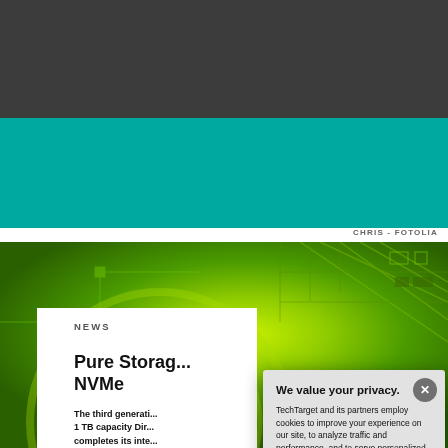[Figure (screenshot): Dark grey top navigation bar of a website]
SearchStorage
[Figure (photo): Green circuit board / technology background image]
CHRIS - FOTOLIA
NEWS
Pure Storag... NVMe
The third generati... 1 TB capacity Dir... completes its inte...
We value your privacy.
TechTarget and its partners employ cookies to improve your experience on our site, to analyze traffic and performance, and to serve personalized content and advertising that are relevant to your professional interests. You can manage your settings at any time. Please view our Privacy Policy for more information